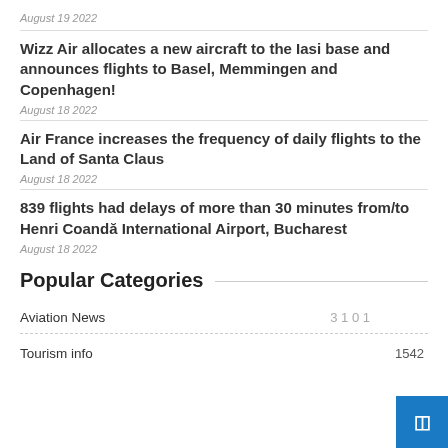August 19 2022
Wizz Air allocates a new aircraft to the Iasi base and announces flights to Basel, Memmingen and Copenhagen!
August 18 2022
Air France increases the frequency of daily flights to the Land of Santa Claus
August 18 2022
839 flights had delays of more than 30 minutes from/to Henri Coandă International Airport, Bucharest
August 18 2022
Popular Categories
Aviation News
3 1 0 1
Tourism info
1542